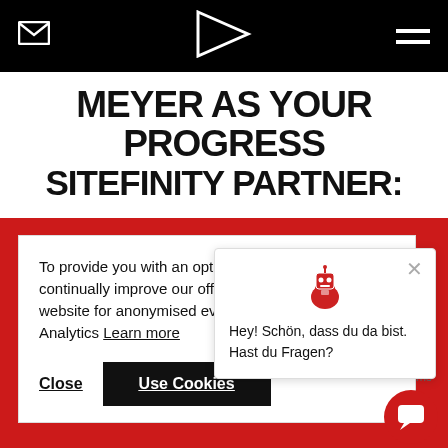Navigation bar with mail icon, logo, and hamburger menu
MEYER AS YOUR PROGRESS SITEFINITY PARTNER:
[Figure (screenshot): Cookie consent dialog with text: To provide you with an optimum service and to continually improve our offer, we use cookies on our website for anonymised evaluation via Google Analytics. Learn more. Buttons: Close, Use Cookies]
[Figure (screenshot): Chat popup with robot icon showing message: Hey! Schön, dass du da bist. Hast du Fragen?]